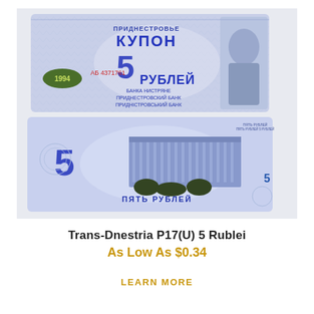[Figure (photo): Photo of both sides of a Trans-Dnestria P17(U) 5 Rublei banknote. The front (top) shows Cyrillic text КУПОН, 5 РУБЛЕЙ, serial number АБ 4371761, year 1994, and a portrait. The back (bottom) shows a building and ПЯТЬ РУБЛЕЙ.]
Trans-Dnestria P17(U) 5 Rublei
As Low As $0.34
LEARN MORE